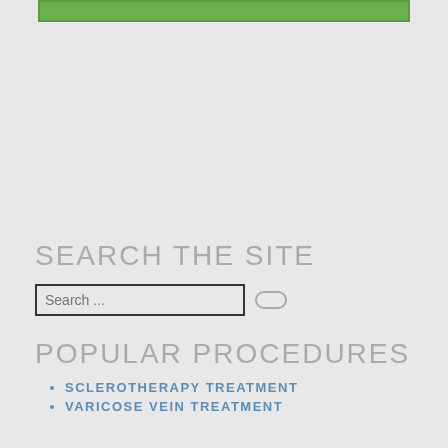[Figure (other): Green horizontal bar at top of page]
SEARCH THE SITE
Search ...
POPULAR PROCEDURES
SCLEROTHERAPY TREATMENT
VARICOSE VEIN TREATMENT